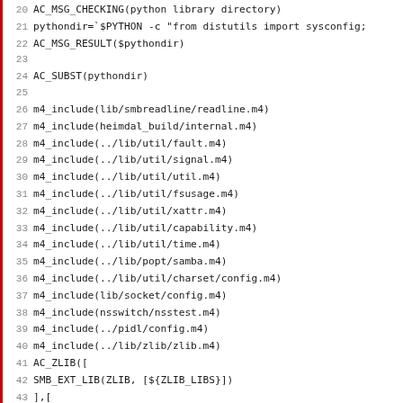Code listing lines 20-51: autoconf/m4 build script fragment including AC_MSG_CHECKING, pythondir, m4_include calls, AC_ZLIB block, and AC_CONFIG_FILES calls.